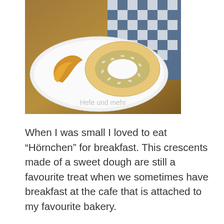[Figure (photo): Photo of bagels and a croissant on a white plate on a wooden surface with a blue and white checkered cloth in the background. Watermark text 'Hefe und mehr' overlaid at the bottom.]
When I was small I loved to eat “Hörnchen” for breakfast. This crescents made of a sweet dough are still a favourite treat when we sometimes have breakfast at the cafe that is attached to my favourite bakery.
I don’t know why I never baked them at home. Somehow this idea did not occur to me. But last weekend I changed this sad fact and baked “Hörnchen”. They are so easy to do!
I decided to prepare a sweet yeast dough with pâte fermentée for more aroma and structure and water roux for a soft crust and a fluffy crumb.